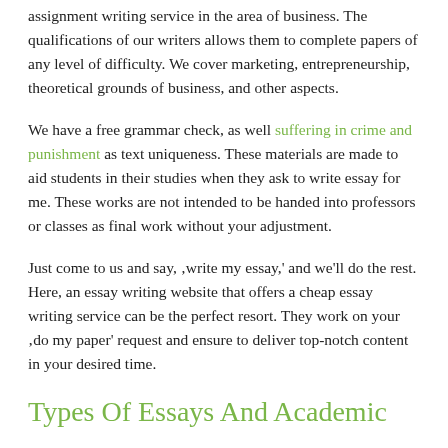assignment writing service in the area of business. The qualifications of our writers allows them to complete papers of any level of difficulty. We cover marketing, entrepreneurship, theoretical grounds of business, and other aspects.
We have a free grammar check, as well suffering in crime and punishment as text uniqueness. These materials are made to aid students in their studies when they ask to write essay for me. These works are not intended to be handed into professors or classes as final work without your adjustment.
Just come to us and say, 'write my essay,' and we'll do the rest. Here, an essay writing website that offers a cheap essay writing service can be the perfect resort. They work on your 'do my paper' request and ensure to deliver top-notch content in your desired time.
Types Of Essays And Academic